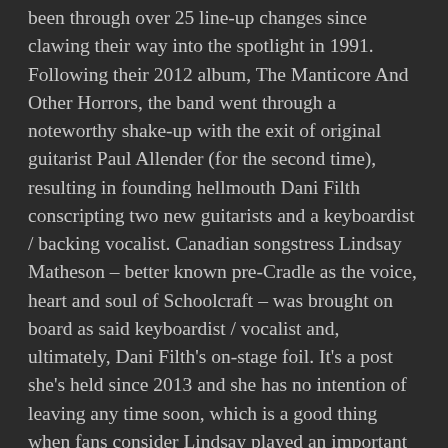been through over 25 line-up changes since clawing their way into the spotlight in 1991. Following their 2012 album, The Manticore And Other Horrors, the band went through a noteworthy shake-up with the exit of original guitarist Paul Allender (for the second time), resulting in founding hellmouth Dani Filth conscripting two new guitarists and a keyboardist / backing vocalist. Canadian songstress Lindsay Matheson – better known pre-Cradle as the voice, heart and soul of Schoolcraft – was brought on board as said keyboardist / vocalist and, ultimately, Dani Filth's on-stage foil. It's a post she's held since 2013 and she has no intention of leaving any time soon, which is a good thing when fans consider Lindsay played an important role in the making of Cradle Of Filth's new critically acclaimed album, Hammer Of The Witches.
“I got so lucky,” says Lindsay. “They found me on